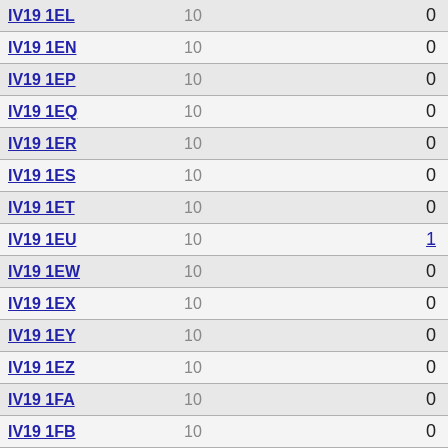| IV19 1EL | 10 | 0 |
| IV19 1EN | 10 | 0 |
| IV19 1EP | 10 | 0 |
| IV19 1EQ | 10 | 0 |
| IV19 1ER | 10 | 0 |
| IV19 1ES | 10 | 0 |
| IV19 1ET | 10 | 0 |
| IV19 1EU | 10 | 1 |
| IV19 1EW | 10 | 0 |
| IV19 1EX | 10 | 0 |
| IV19 1EY | 10 | 0 |
| IV19 1EZ | 10 | 0 |
| IV19 1FA | 10 | 0 |
| IV19 1FB | 10 | 0 |
| IV19 1FD | 10 | 0 |
| IV19 1FE | 10 | 0 |
| IV19 1FF | 10 | 0 |
| IV19 1FG | 10 | 0 |